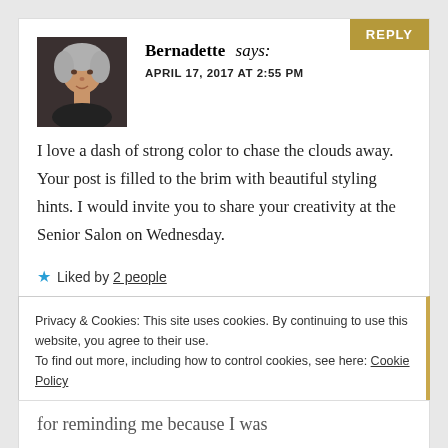REPLY
Bernadette says:
APRIL 17, 2017 AT 2:55 PM
I love a dash of strong color to chase the clouds away. Your post is filled to the brim with beautiful styling hints. I would invite you to share your creativity at the Senior Salon on Wednesday.
Liked by 2 people
Privacy & Cookies: This site uses cookies. By continuing to use this website, you agree to their use.
To find out more, including how to control cookies, see here: Cookie Policy
Close and accept
for reminding me because I was